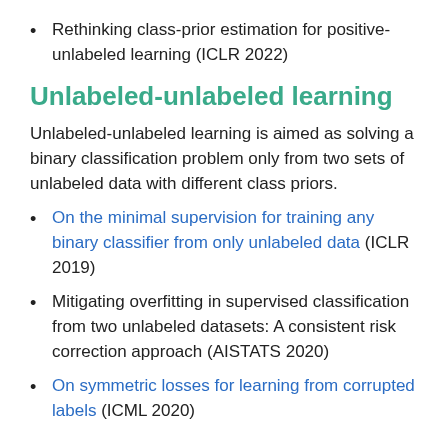Rethinking class-prior estimation for positive-unlabeled learning (ICLR 2022)
Unlabeled-unlabeled learning
Unlabeled-unlabeled learning is aimed as solving a binary classification problem only from two sets of unlabeled data with different class priors.
On the minimal supervision for training any binary classifier from only unlabeled data (ICLR 2019)
Mitigating overfitting in supervised classification from two unlabeled datasets: A consistent risk correction approach (AISTATS 2020)
On symmetric losses for learning from corrupted labels (ICML 2020)